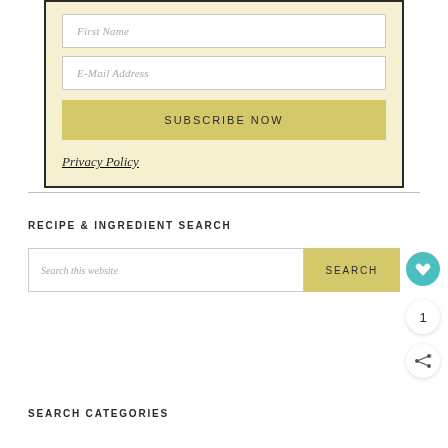First Name
E-Mail Address
SUBSCRIBE NOW
Privacy Policy
RECIPE & INGREDIENT SEARCH
Search this website
SEARCH
1
SEARCH CATEGORIES